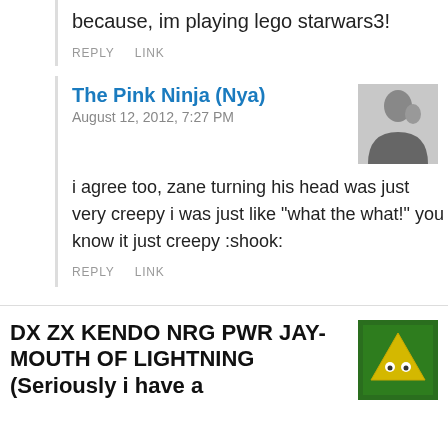because, im playing lego starwars3!
REPLY   LINK
The Pink Ninja (Nya)
August 12, 2012, 7:27 PM
i agree too, zane turning his head was just very creepy i was just like "what the what!" you know it just creepy :shook:
REPLY   LINK
DX ZX KENDO NRG PWR JAY-MOUTH OF LIGHTNING (Seriously i have a